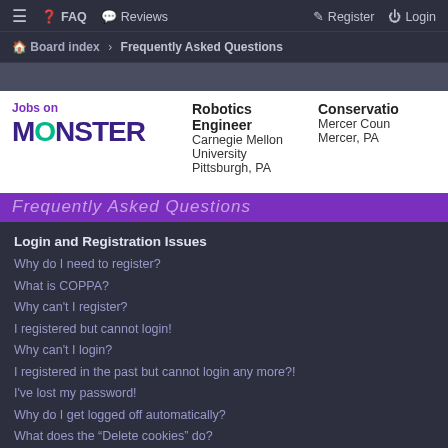≡  ❓ FAQ  💬 Reviews    🖊 Register  ⏻ Login
Board index › Frequently Asked Questions
[Figure (other): Monster.com jobs advertisement banner showing: Jobs on MONSTER, Robotics Engineer at Carnegie Mellon University, Pittsburgh PA; Conservation [truncated] Mercer County, Mercer PA]
Frequently Asked Questions
Login and Registration Issues
Why do I need to register?
What is COPPA?
Why can't I register?
I registered but cannot login!
Why can't I login?
I registered in the past but cannot login any more?!
I've lost my password!
Why do I get logged off automatically?
What does the "Delete cookies" do?
User Preferences and settings
How do I change my settings?
How do I prevent my username appearing in the online user listings?